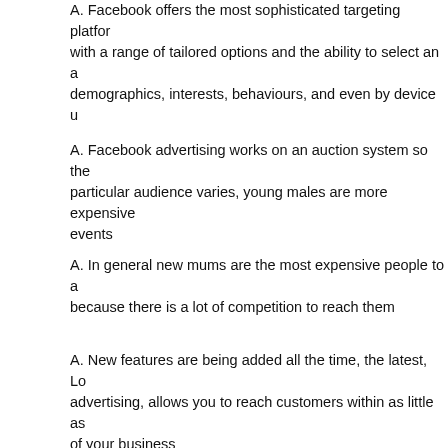A. Facebook offers the most sophisticated targeting platform with a range of tailored options and the ability to select an audience by demographics, interests, behaviours, and even by device us...
A. Facebook advertising works on an auction system so the cost of reaching a particular audience varies, young males are more expensive to reach around sports events
A. In general new mums are the most expensive people to advertise to because there is a lot of competition to reach them
A. New features are being added all the time, the latest, Local advertising, allows you to reach customers within as little as a few miles of your business